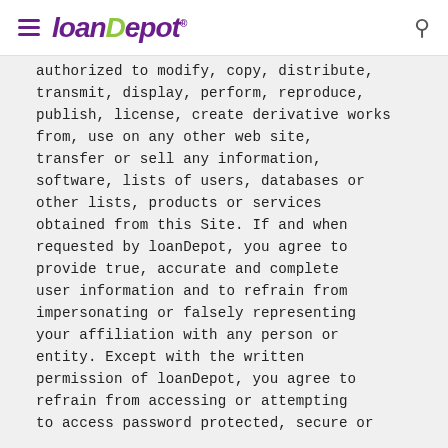loanDepot
authorized to modify, copy, distribute, transmit, display, perform, reproduce, publish, license, create derivative works from, use on any other web site, transfer or sell any information, software, lists of users, databases or other lists, products or services obtained from this Site. If and when requested by loanDepot, you agree to provide true, accurate and complete user information and to refrain from impersonating or falsely representing your affiliation with any person or entity. Except with the written permission of loanDepot, you agree to refrain from accessing or attempting to access password protected, secure or